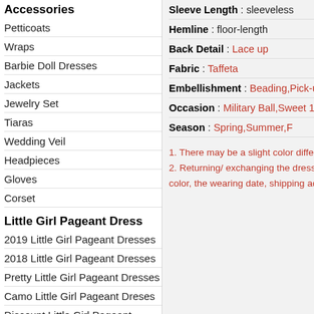Accessories
Petticoats
Wraps
Barbie Doll Dresses
Jackets
Jewelry Set
Tiaras
Wedding Veil
Headpieces
Gloves
Corset
Little Girl Pageant Dress
2019 Little Girl Pageant Dresses
2018 Little Girl Pageant Dresses
Pretty Little Girl Pageant Dresses
Camo Little Girl Pageant Dresses
Discount Little Girl Pageant Dresses
Mini Quinceanera Dresses
Lovely Kids Pageant Dresses
Beautiful Girls Pageant Dresses
Sleeve Length : sleeveless
Hemline : floor-length
Back Detail : Lace up
Fabric : Taffeta
Embellishment : Beading,Pick-ups
Occasion : Military Ball,Sweet 16,Quince
Season : Spring,Summer,F
1. There may be a slight color difference
2. Returning/ exchanging the dress waste color, the wearing date, shipping address